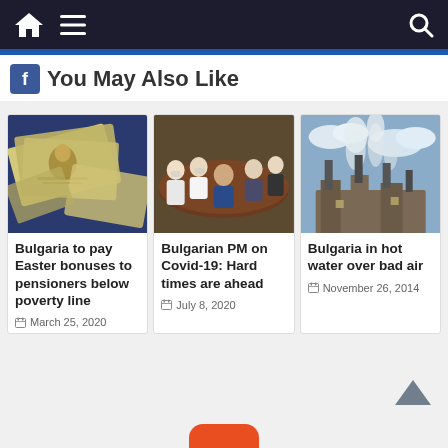Navigation bar with home, menu, and search icons
You May Also Like
[Figure (photo): Bulgarian banknotes (currency) fanned out on a dark blue surface]
Bulgaria to pay Easter bonuses to pensioners below poverty line
March 25, 2020
[Figure (photo): People in masks sitting around a meeting table in an official setting]
Bulgarian PM on Covid-19: Hard times are ahead
July 8, 2020
[Figure (photo): Industrial factory with large smokestacks emitting white smoke against a cloudy sky]
Bulgaria in hot water over bad air
November 26, 2014